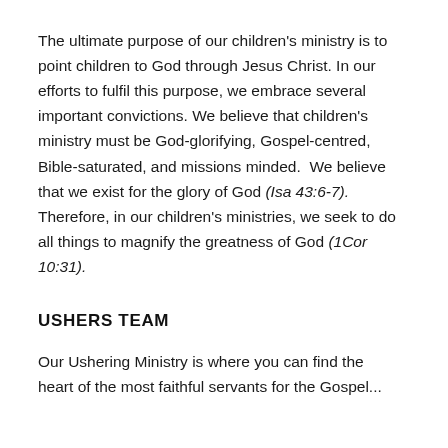The ultimate purpose of our children's ministry is to point children to God through Jesus Christ. In our efforts to fulfil this purpose, we embrace several important convictions. We believe that children's ministry must be God-glorifying, Gospel-centred, Bible-saturated, and missions minded.  We believe that we exist for the glory of God (Isa 43:6-7). Therefore, in our children's ministries, we seek to do all things to magnify the greatness of God (1Cor 10:31).
USHERS TEAM
Our Ushering Ministry is where you can find the heart of the most faithful servants for the Gospel...